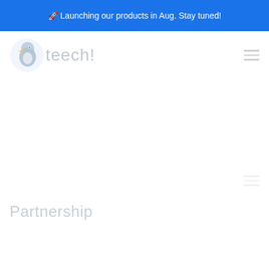🚀 Launching our products in Aug. Stay tuned!
[Figure (logo): Teech! logo with penguin/toucan bird icon and gray 'teech!' text]
Partnership